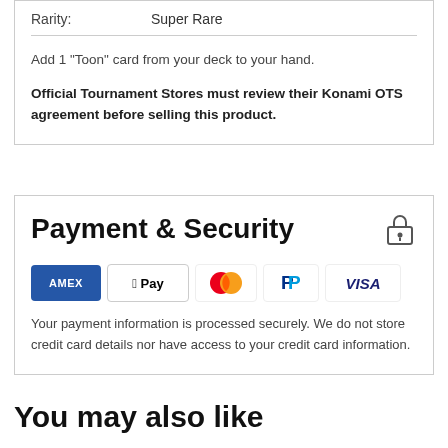Rarity: Super Rare
Add 1 "Toon" card from your deck to your hand.
Official Tournament Stores must review their Konami OTS agreement before selling this product.
Payment & Security
[Figure (logo): Payment method logos: American Express, Apple Pay, Mastercard, PayPal, Visa]
Your payment information is processed securely. We do not store credit card details nor have access to your credit card information.
You may also like